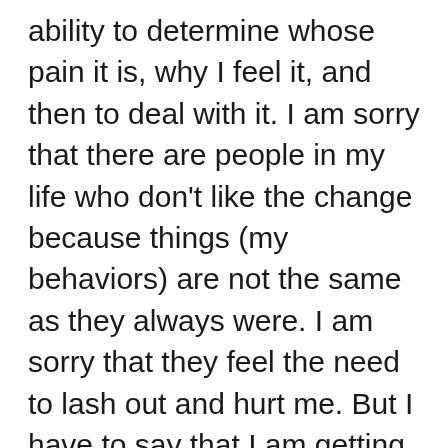ability to determine whose pain it is, why I feel it, and then to deal with it. I am sorry that there are people in my life who don't like the change because things (my behaviors) are not the same as they always were. I am sorry that they feel the need to lash out and hurt me. But I have to say that I am getting better at not taking that too.

The bottom line is, it is not selfish to take care of yourself. It is okay to say